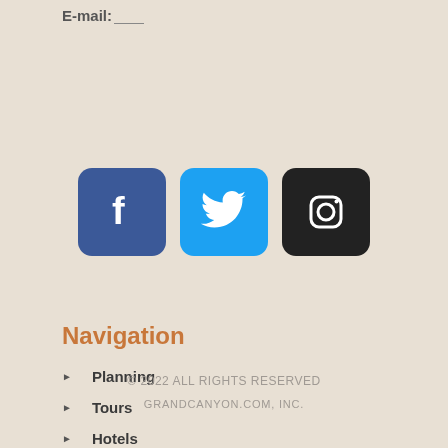E-mail: ___
[Figure (illustration): Three social media icon buttons: Facebook (dark blue), Twitter (light blue), Instagram (dark/black), each with white icons on rounded square backgrounds.]
Navigation
Planning
Tours
Hotels
News
© 2022 ALL RIGHTS RESERVED GRANDCANYON.COM, INC.